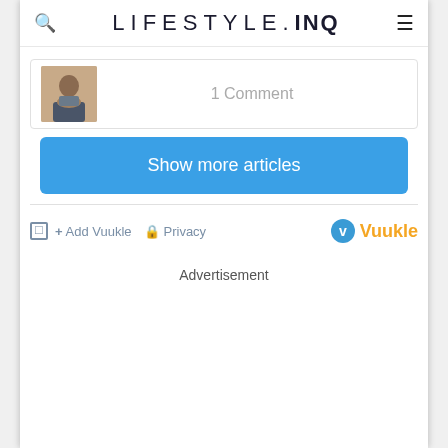LIFESTYLE.INQ
1 Comment
Show more articles
Add Vuukle  Privacy  Vuukle
Advertisement